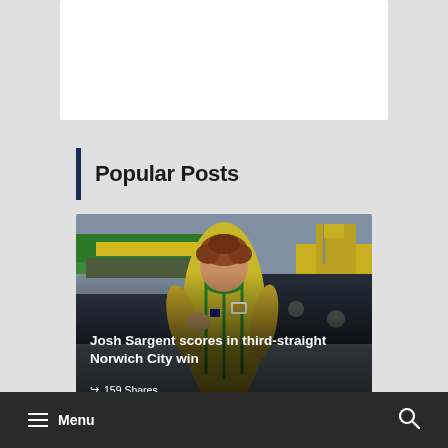Popular Posts
[Figure (photo): Josh Sargent in yellow and green Norwich City kit celebrating with hand on chest, stadium and yellow flags in background]
Josh Sargent scores in third-straight Norwich City win
159 Shares
Menu